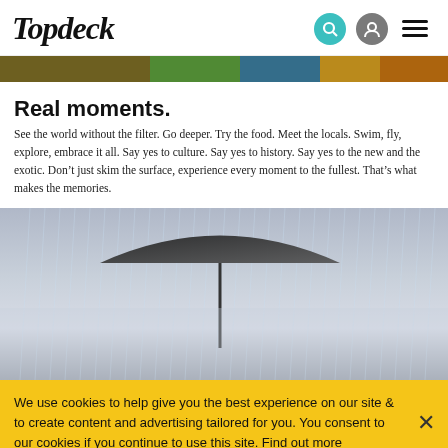Topdeck
[Figure (photo): Partial top photo strip showing colorful outdoor scene with people]
Real moments.
See the world without the filter. Go deeper. Try the food. Meet the locals. Swim, fly, explore, embrace it all. Say yes to culture. Say yes to history. Say yes to the new and the exotic. Don’t just skim the surface, experience every moment to the fullest. That’s what makes the memories.
[Figure (photo): Photo of a smiling person in heavy rain holding an umbrella, with blurred background]
We use cookies to help give you the best experience on our site & to create content and advertising tailored for you. You consent to our cookies if you continue to use this site. Find out more